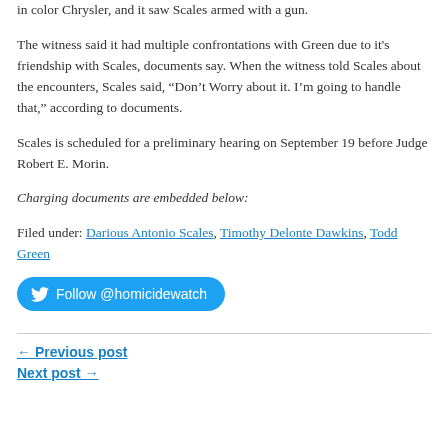in color Chrysler, and it saw Scales armed with a gun.
The witness said it had multiple confrontations with Green due to it's friendship with Scales, documents say. When the witness told Scales about the encounters, Scales said, “Don’t Worry about it. I’m going to handle that,” according to documents.
Scales is scheduled for a preliminary hearing on September 19 before Judge Robert E. Morin.
Charging documents are embedded below:
Filed under: Darious Antonio Scales, Timothy Delonte Dawkins, Todd Green
[Figure (other): Twitter Follow button for @homicidewatch]
← Previous post
Next post →